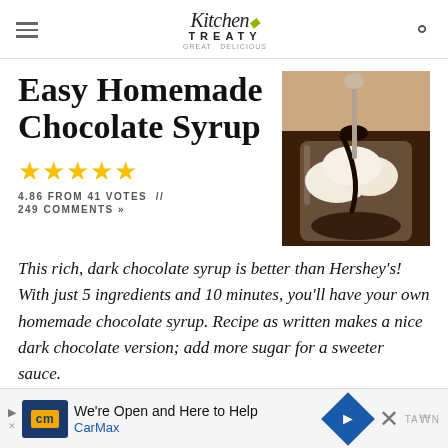Kitchen Treaty — logo and navigation
Easy Homemade Chocolate Syrup
[Figure (photo): A glass dessert cup with vanilla ice cream topped with dark chocolate syrup and a spoon.]
4.86 FROM 41 VOTES // 249 COMMENTS »
This rich, dark chocolate syrup is better than Hershey's! With just 5 ingredients and 10 minutes, you'll have your own homemade chocolate syrup. Recipe as written makes a nice dark chocolate version; add more sugar for a sweeter sauce.
[Figure (infographic): CarMax advertisement banner: 'We're Open and Here to Help — CarMax' with logo and navigation arrow.]